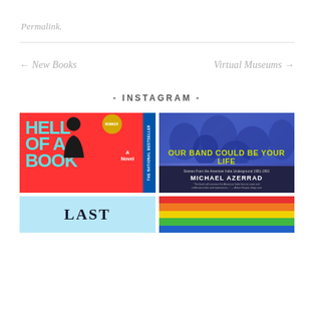Permalink.
← New Books
Virtual Museums →
- INSTAGRAM -
[Figure (photo): Book cover: Hell of a Book – A Novel, The National Bestseller, Winner badge, blue/red cover with silhouette]
[Figure (photo): Book cover: Our Band Could Be Your Life by Michael Azerrad – Scenes From the American Indie Underground 1981-1991, blue toned cover with crowd photo]
[Figure (photo): Partial book cover showing 'LAST' text on light blue background]
[Figure (photo): Partial book cover showing rainbow colored stripes (red, orange, yellow, green, blue)]